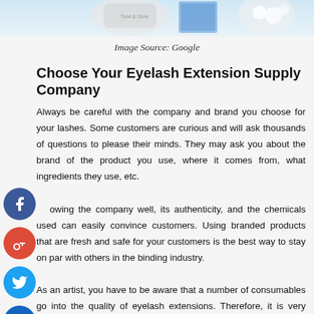[Figure (photo): Top strip showing eyelash extension supply products including containers and accessories against a light blue background]
Image Source: Google
Choose Your Eyelash Extension Supply Company
Always be careful with the company and brand you choose for your lashes. Some customers are curious and will ask thousands of questions to please their minds. They may ask you about the brand of the product you use, where it comes from, what ingredients they use, etc.

Knowing the company well, its authenticity, and the chemicals used can easily convince customers. Using branded products that are fresh and safe for your customers is the best way to stay on par with others in the binding industry.

As an artist, you have to be aware that a number of consumables go into the quality of eyelash extensions. Therefore, it is very important that you